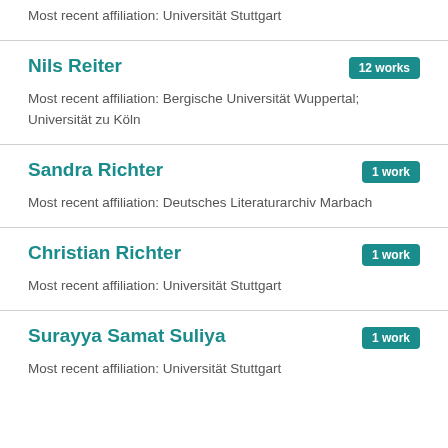Most recent affiliation: Universität Stuttgart
Nils Reiter
12 works
Most recent affiliation: Bergische Universität Wuppertal; Universität zu Köln
Sandra Richter
1 work
Most recent affiliation: Deutsches Literaturarchiv Marbach
Christian Richter
1 work
Most recent affiliation: Universität Stuttgart
Surayya Samat Suliya
1 work
Most recent affiliation: Universität Stuttgart